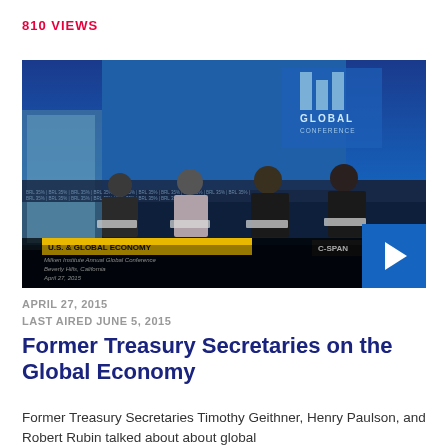810 VIEWS
[Figure (screenshot): Video thumbnail showing a panel discussion at the Milken Institute Annual Global Conference, Beverly Hills, California, April 27, 2015. Four panelists seated on stage in front of a blue 'Global Conference' backdrop. Lower-third text reads 'U.S. & GLOBAL ECONOMY'. C-SPAN logo visible. Blue play button overlay in bottom-right corner.]
APRIL 27, 2015
LAST AIRED JUNE 5, 2015
Former Treasury Secretaries on the Global Economy
Former Treasury Secretaries Timothy Geithner, Henry Paulson, and Robert Rubin talked about about global